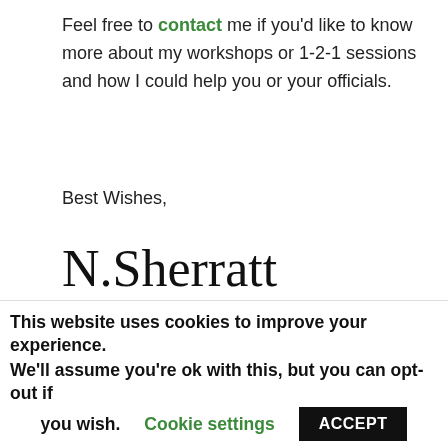Feel free to contact me if you'd like to know more about my workshops or 1-2-1 sessions and how I could help you or your officials.
Best Wishes,
[Figure (illustration): Handwritten signature reading N.Sherratt in cursive script]
Nathan Sherratt
Referee Educator & Managing Director of The Third
This website uses cookies to improve your experience. We'll assume you're ok with this, but you can opt-out if you wish. Cookie settings ACCEPT